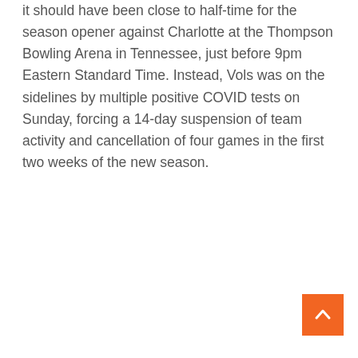it should have been close to half-time for the season opener against Charlotte at the Thompson Bowling Arena in Tennessee, just before 9pm Eastern Standard Time. Instead, Vols was on the sidelines by multiple positive COVID tests on Sunday, forcing a 14-day suspension of team activity and cancellation of four games in the first two weeks of the new season.
[Figure (other): Orange scroll-to-top button with white upward chevron arrow, positioned in the bottom-right corner]